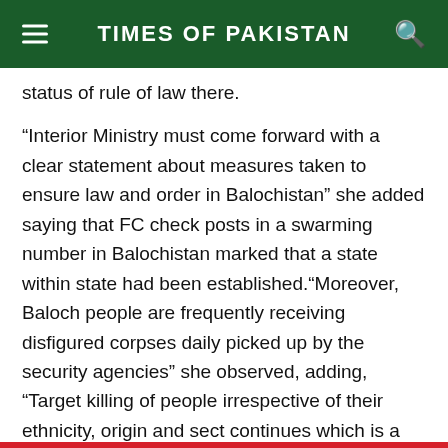TIMES OF PAKISTAN
status of rule of law there.
“Interior Ministry must come forward with a clear statement about measures taken to ensure law and order in Balochistan” she added saying that FC check posts in a swarming number in Balochistan marked that a state within state had been established.“Moreover, Baloch people are frequently receiving disfigured corpses daily picked up by the security agencies” she observed, adding, “Target killing of people irrespective of their ethnicity, origin and sect continues which is a matter of national concern”. – Onlinenews
Tags: Baloch Senator | security measures in Balochistan